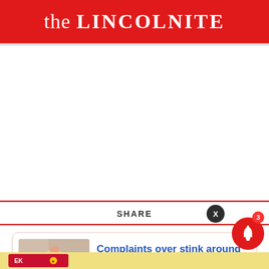the LINCOLNITE
[Figure (screenshot): White blank main content area of webpage]
SHARE
Complaints over stink around Sleaford
3 hours ago
[Figure (other): Yellow banner advertisement at bottom with red logo]